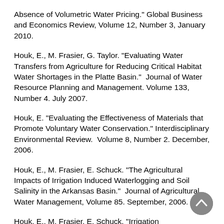Absence of Volumetric Water Pricing." Global Business and Economics Review, Volume 12, Number 3, January 2010.
Houk, E., M. Frasier, G. Taylor. "Evaluating Water Transfers from Agriculture for Reducing Critical Habitat Water Shortages in the Platte Basin."  Journal of Water Resource Planning and Management. Volume 133, Number 4. July 2007.
Houk, E. "Evaluating the Effectiveness of Materials that Promote Voluntary Water Conservation." Interdisciplinary Environmental Review.  Volume 8, Number 2. December, 2006.
Houk, E., M. Frasier, E. Schuck. "The Agricultural Impacts of Irrigation Induced Waterlogging and Soil Salinity in the Arkansas Basin."  Journal of Agricultural Water Management, Volume 85. September, 2006.
Houk, E., M. Frasier, E. Schuck. "Irrigation Technology Decisions in the Presence of Waterlogging and Soil Salinity."